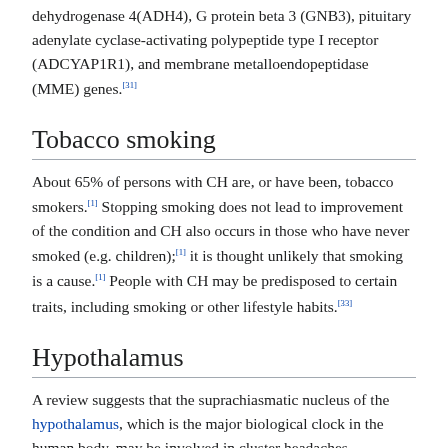dehydrogenase 4(ADH4), G protein beta 3 (GNB3), pituitary adenylate cyclase-activating polypeptide type I receptor (ADCYAP1R1), and membrane metalloendopeptidase (MME) genes.[31]
Tobacco smoking
About 65% of persons with CH are, or have been, tobacco smokers.[1] Stopping smoking does not lead to improvement of the condition and CH also occurs in those who have never smoked (e.g. children);[1] it is thought unlikely that smoking is a cause.[1] People with CH may be predisposed to certain traits, including smoking or other lifestyle habits.[33]
Hypothalamus
A review suggests that the suprachiasmatic nucleus of the hypothalamus, which is the major biological clock in the human body, may be involved in cluster headaches.